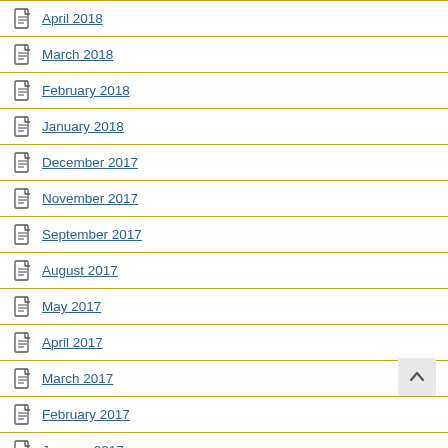April 2018
March 2018
February 2018
January 2018
December 2017
November 2017
September 2017
August 2017
May 2017
April 2017
March 2017
February 2017
January 2017
November 2016